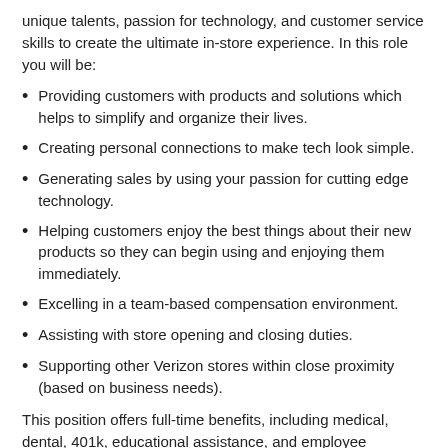unique talents, passion for technology, and customer service skills to create the ultimate in-store experience. In this role you will be:
Providing customers with products and solutions which helps to simplify and organize their lives.
Creating personal connections to make tech look simple.
Generating sales by using your passion for cutting edge technology.
Helping customers enjoy the best things about their new products so they can begin using and enjoying them immediately.
Excelling in a team-based compensation environment.
Assisting with store opening and closing duties.
Supporting other Verizon stores within close proximity (based on business needs).
This position offers full-time benefits, including medical, dental, 401k, educational assistance, and employee discounts that start on day one. Must be willing to work evenings, weekends